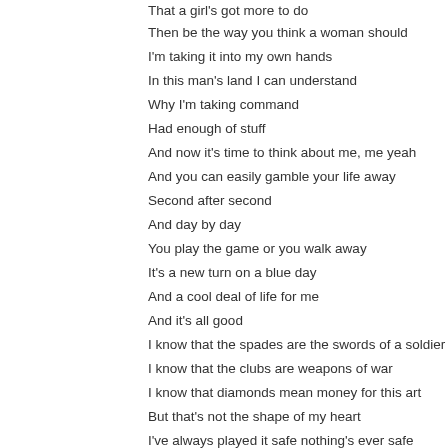That a girl's got more to do
Then be the way you think a woman should
I'm taking it into my own hands
In this man's land I can understand
Why I'm taking command
Had enough of stuff
And now it's time to think about me, me yeah
And you can easily gamble your life away
Second after second
And day by day
You play the game or you walk away
It's a new turn on a blue day
And a cool deal of life for me
And it's all good
I know that the spades are the swords of a soldier
I know that the clubs are weapons of war
I know that diamonds mean money for this art
But that's not the shape of my heart
I've always played it safe nothing's ever safe